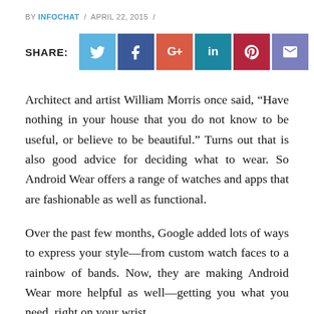BY INFOCHAT / APRIL 22, 2015 /
[Figure (other): Social share buttons row: Twitter, Facebook, Google+, LinkedIn, Pinterest, Email]
Architect and artist William Morris once said, “Have nothing in your house that you do not know to be useful, or believe to be beautiful.” Turns out that is also good advice for deciding what to wear. So Android Wear offers a range of watches and apps that are fashionable as well as functional.
Over the past few months, Google added lots of ways to express your style—from custom watch faces to a rainbow of bands. Now, they are making Android Wear more helpful as well—getting you what you need, right on your wrist.